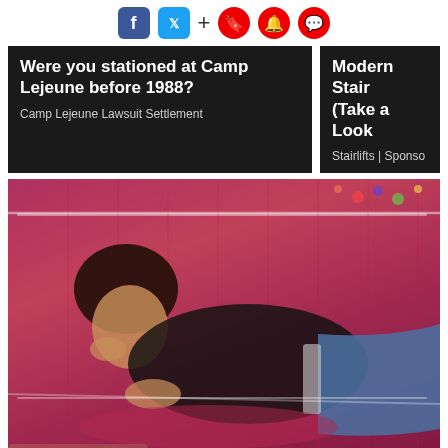[Figure (screenshot): Social media share bar with Facebook (blue), Twitter (blue bird), plus sign, and three red circular icons (bookmark, bell, comment)]
[Figure (screenshot): Advertisement banner: 'Were you stationed at Camp Lejeune before 1988? Camp Lejeune Lawsuit Settlement' on dark background]
[Figure (screenshot): Partial advertisement banner: 'Modern Stair (Take a Look) Stairlifts | Sponso' on dark background, cropped on right]
[Figure (photo): Woman with dark hair lying on a pink/magenta tufted leather sofa, wearing a black off-shoulder top and blue jeans with a clear belt]